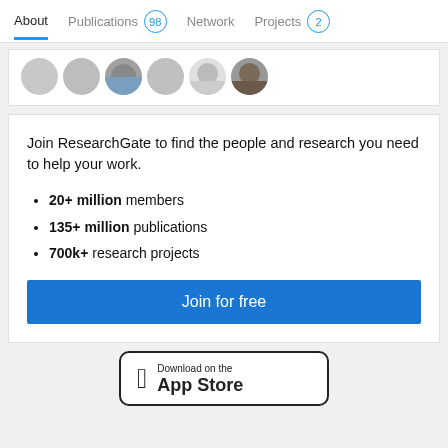About   Publications 98   Network   Projects 2
[Figure (photo): Row of circular avatar profile photos, partially cropped at top]
Join ResearchGate to find the people and research you need to help your work.
20+ million members
135+ million publications
700k+ research projects
Join for free
[Figure (logo): Download on the App Store badge with Apple logo]